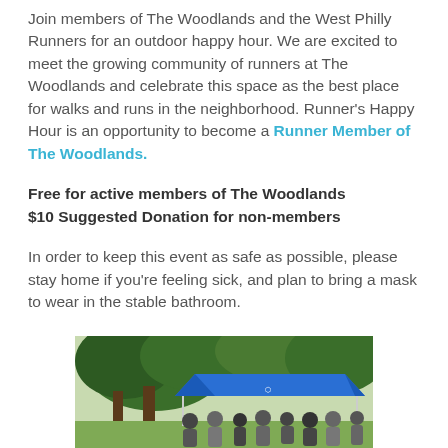Join members of The Woodlands and the West Philly Runners for an outdoor happy hour. We are excited to meet the growing community of runners at The Woodlands and celebrate this space as the best place for walks and runs in the neighborhood. Runner's Happy Hour is an opportunity to become a Runner Member of The Woodlands.
Free for active members of The Woodlands
$10 Suggested Donation for non-members
In order to keep this event as safe as possible, please stay home if you're feeling sick, and plan to bring a mask to wear in the stable bathroom.
[Figure (photo): Outdoor event photo showing people gathered under a blue pop-up tent canopy in a park with large trees in the background]